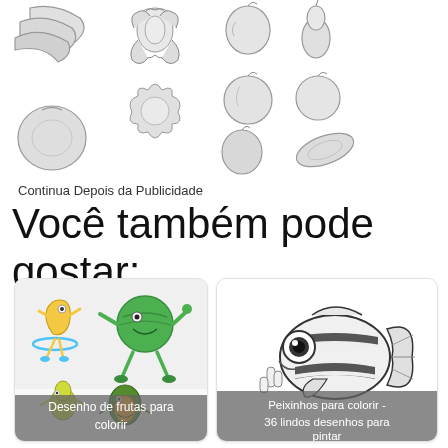[Figure (illustration): Pencil sketch drawings of various fruits including bananas, pineapple/flower, apple, pear, guava/round fruit, two apples, plum/stone fruit, avocado/leaf shape arranged across the top portion of the page]
Continua Depois da Publicidade
Você também pode gostar:
[Figure (illustration): Card showing cartoon dancing fruit characters (banana, watermelon, pear, avocado) with caption 'Desenho de frutas para colorir']
[Figure (illustration): Card showing black and white drawing of a clownfish (Nemo-style) with caption 'Peixinhos para colorir - 36 lindos desenhos para pintar']